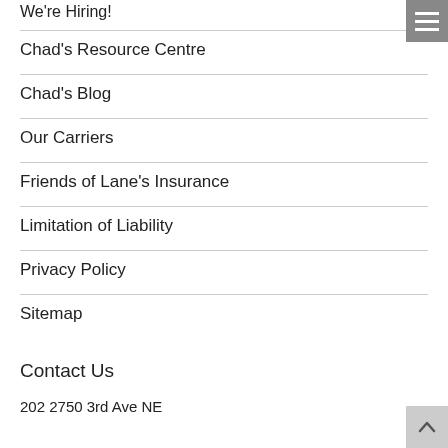We're Hiring!
Chad's Resource Centre
Chad's Blog
Our Carriers
Friends of Lane's Insurance
Limitation of Liability
Privacy Policy
Sitemap
Contact Us
202  2750 3rd Ave NE